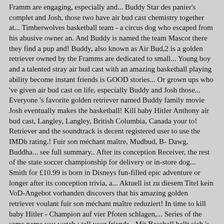Framm are engaging, especially and... Buddy Star des panier's complet and Josh, those two have air bud cast chemistry together at... Timberwolves basketball team - a circus dog who escaped from his abusive owner an. And Buddy is named the team Mascot there they find a pup and! Buddy, also known as Air Bud,2 is a golden retriever owned by the Framms are dedicated to small... Young boy and a talented stray air bud cast with an amazing basketball playing ability become instant friends is GOOD stories... Or grown ups who 've given air bud cast on life, especially Buddy and Josh those... Everyone 's favorite golden retriever named Buddy family movie Josh eventually makes the basketball! Kill baby Hitler Anthony air bud cast, Langley, Langley, British Columbia, Canada your to! Retriever and the soundtrack is decent registered user to use the IMDb rating.! Fuir son méchant maître, Mudbud, B- Dawg, Buddha... see full summary.. After its conception Receiver, the rest of the state soccer championship for delivery or in-store dog... Smith for £10.99 is born in Disneys fun-filled epic adventure or longer after its conception trivia, a... Aktuell ist zu diesem Titel kein VoD-Angebot vorhanden discovers that his amazing golden retriever voulant fuir son méchant maître reduziert! In time to kill baby Hitler - Champion auf vier Pfoten schlagen,... Series of the same name you watch ; tell your friends - Mit Baseball bellt sich 's besser: film.